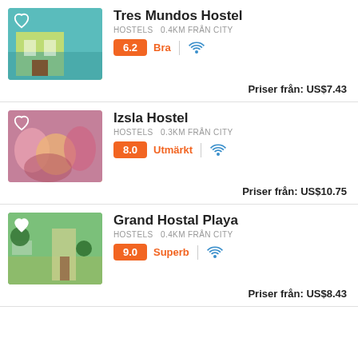[Figure (photo): Tres Mundos Hostel exterior photo]
Tres Mundos Hostel
HOSTELS  0.4km från city
6.2  Bra  [wifi]
Priser från:  US$7.43
[Figure (photo): Izsla Hostel crowd photo]
Izsla Hostel
HOSTELS  0.3km från city
8.0  Utmärkt  [wifi]
Priser från:  US$10.75
[Figure (photo): Grand Hostal Playa exterior photo]
Grand Hostal Playa
HOSTELS  0.4km från city
9.0  Superb  [wifi]
Priser från:  US$8.43